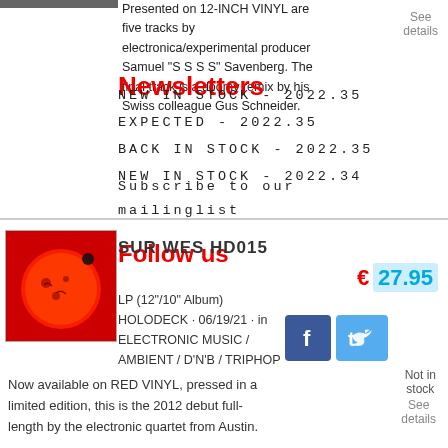Presented on 12-INCH VINYL are five tracks by electronica/experimental producer Samuel "S S S S" Savenberg. The final track is a doomy remix by his Swiss colleague Gus Schneider.
Newsletters
NEW IN STOCK - 2022.35
EXPECTED - 2022.35
BACK IN STOCK - 2022.35
NEW IN STOCK - 2022.34
Subscribe to our
mailinglist
See
details
Follow us
SUR WES HD015
LP (12"/10" Album)
HOLODECK · 06/19/21 · in
ELECTRONIC MUSIC / AMBIENT / D'N'B / TRIPHOP
€ 27.95
Not in stock
See
details
Now available on RED VINYL, pressed in a limited edition, this is the 2012 debut full-length by the electronic quartet from Austin.